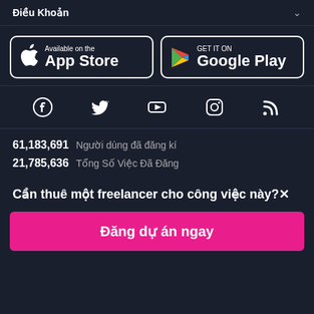Điều Khoản
[Figure (screenshot): App Store and Google Play download buttons]
[Figure (infographic): Social media icons: Facebook, Twitter, YouTube, Instagram, RSS]
61,183,691  Người dùng đã đăng kí
21,785,636  Tổng Số Việc Đã Đăng
Cần thuê một freelancer cho công việc này?×
Đăng dự án ngay